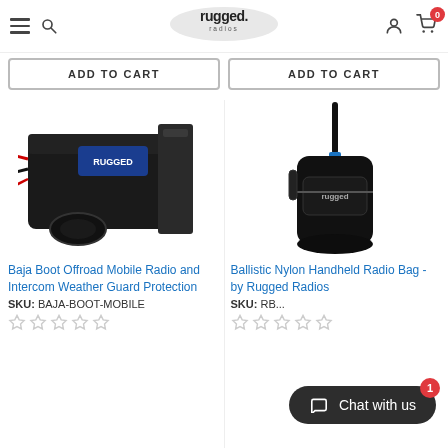rugged. radios — navigation header with hamburger menu, search, logo, user icon, and cart with badge 0
[Figure (screenshot): ADD TO CART button left]
[Figure (screenshot): ADD TO CART button right]
[Figure (photo): Baja Boot Offroad Mobile Radio and Intercom Weather Guard Protection product photo — black device with wires]
[Figure (photo): Ballistic Nylon Handheld Radio Bag by Rugged Radios product photo — black cylindrical pouch with antenna]
Baja Boot Offroad Mobile Radio and Intercom Weather Guard Protection
SKU: BAJA-BOOT-MOBILE
Ballistic Nylon Handheld Radio Bag - by Rugged Radios
SKU: RB...
[Figure (other): 5 empty star rating icons — left product]
[Figure (other): 5 empty star rating icons — right product]
[Figure (screenshot): Chat with us button with red badge showing 1]